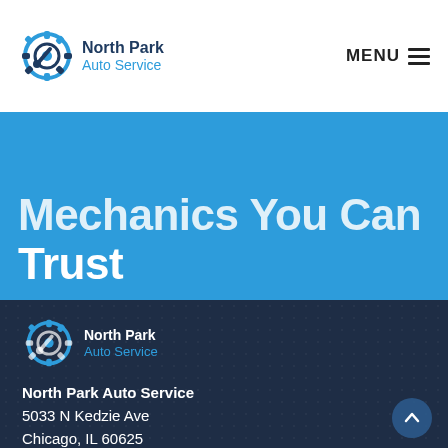North Park Auto Service — MENU
Mechanics You Can Trust
[Figure (logo): North Park Auto Service logo with gear icon, white/blue on dark background]
North Park Auto Service
5033 N Kedzie Ave
Chicago, IL 60625
(773) 279-0700